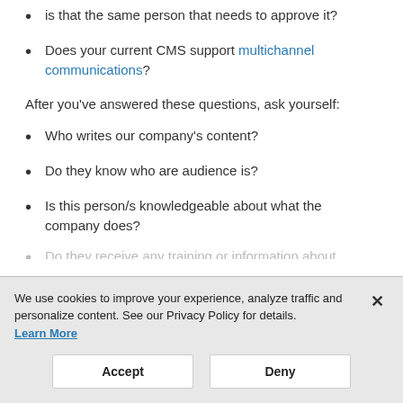is that the same person that needs to approve it?
Does your current CMS support multichannel communications?
After you've answered these questions, ask yourself:
Who writes our company's content?
Do they know who are audience is?
Is this person/s knowledgeable about what the company does?
We use cookies to improve your experience, analyze traffic and personalize content. See our Privacy Policy for details. Learn More
Accept
Deny